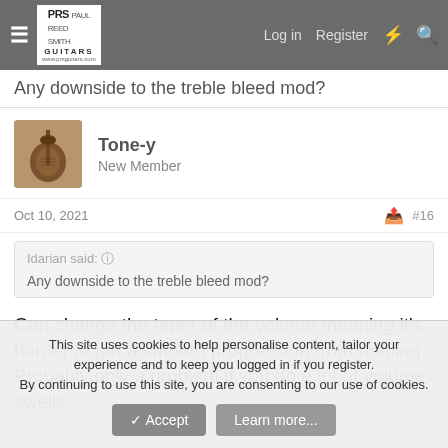PRS Paul Reed Smith Guitars — Log in  Register
Any downside to the treble bleed mod?
Tone-y
New Member
Oct 10, 2021  #16
Idarian said:
Any downside to the treble bleed mod?
Can change the taper of the volume meaning it's harder to get a smooth progression from nothing. Probably only a problem if you do a lot of volume swells
This site uses cookies to help personalise content, tailor your experience and to keep you logged in if you register.
By continuing to use this site, you are consenting to our use of cookies.